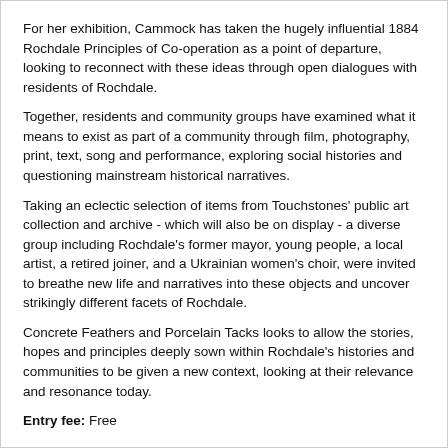For her exhibition, Cammock has taken the hugely influential 1884 Rochdale Principles of Co-operation as a point of departure, looking to reconnect with these ideas through open dialogues with residents of Rochdale.
Together, residents and community groups have examined what it means to exist as part of a community through film, photography, print, text, song and performance, exploring social histories and questioning mainstream historical narratives.
Taking an eclectic selection of items from Touchstones' public art collection and archive - which will also be on display - a diverse group including Rochdale's former mayor, young people, a local artist, a retired joiner, and a Ukrainian women's choir, were invited to breathe new life and narratives into these objects and uncover strikingly different facets of Rochdale.
Concrete Feathers and Porcelain Tacks looks to allow the stories, hopes and principles deeply sown within Rochdale's histories and communities to be given a new context, looking at their relevance and resonance today.
Entry fee: Free
Contact: Touchstones Main Reception
☎ 01706 924492
https://link4life.org/arts-heritage/art-gallery